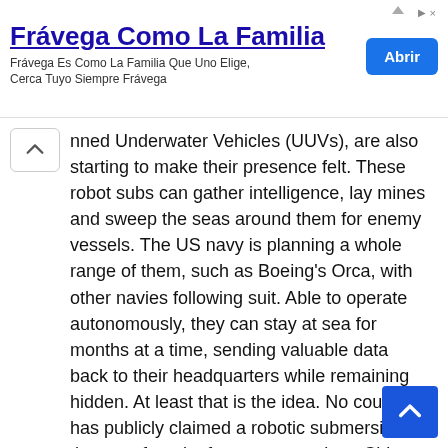[Figure (screenshot): Advertisement banner: 'Frávega Como La Familia' with subtitle 'Frávega Es Como La Familia Que Uno Elige, Cerca Tuyo Siempre Frávega' and an 'Abrir' button]
nned Underwater Vehicles (UUVs), are also starting to make their presence felt. These robot subs can gather intelligence, lay mines and sweep the seas around them for enemy vessels. The US navy is planning a whole range of them, such as Boeing's Orca, with other navies following suit. Able to operate autonomously, they can stay at sea for months at a time, sending valuable data back to their headquarters while remaining hidden. At least that is the idea. No country has publicly claimed a robotic submersible that was found a few years ago by a Chinese fishing vessel in the South China Sea. It was capable of satellite communications and recording images, and was suspected by the Chinese authorities of being used to spy on Chinese naval activity in the area.
China itself is developing its own fleet of unmanned AI-